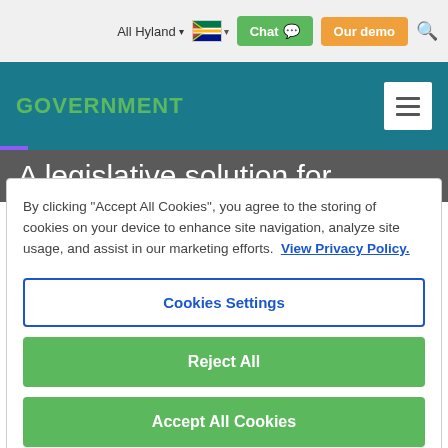All Hyland | Chat | Our demo
GOVERNMENT
A legislative solution for
By clicking "Accept All Cookies", you agree to the storing of cookies on your device to enhance site navigation, analyze site usage, and assist in our marketing efforts. View Privacy Policy.
Cookies Settings
Reject All
Accept All Cookies